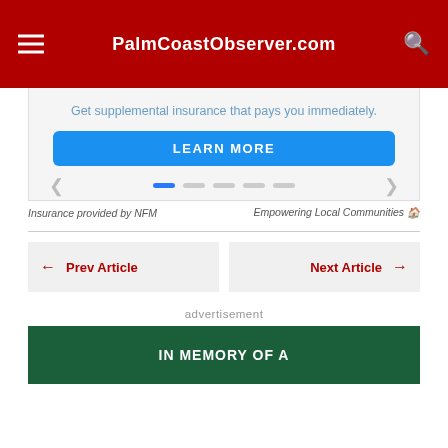PalmCoastObserver.com
[Figure (screenshot): Insurance advertisement banner with text 'Get supplemental insurance that pays you immediately.' and a blue 'LEARN MORE' button, with carousel navigation dots]
Insurance provided by NFM    Empowering Local Communities
Prev Article
Next Article
advertisement
[Figure (photo): Green background advertisement beginning with 'IN MEMORY OF A']